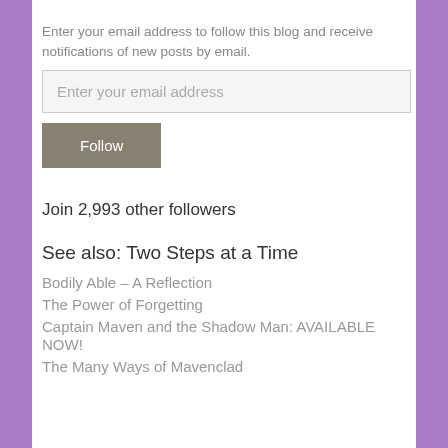Enter your email address to follow this blog and receive notifications of new posts by email.
[Figure (other): Email input text field with placeholder 'Enter your email address']
[Figure (other): Follow button, dark brownish-gray background with white text 'Follow']
Join 2,993 other followers
See also: Two Steps at a Time
Bodily Able – A Reflection
The Power of Forgetting
Captain Maven and the Shadow Man: AVAILABLE NOW!
The Many Ways of Mavenclad